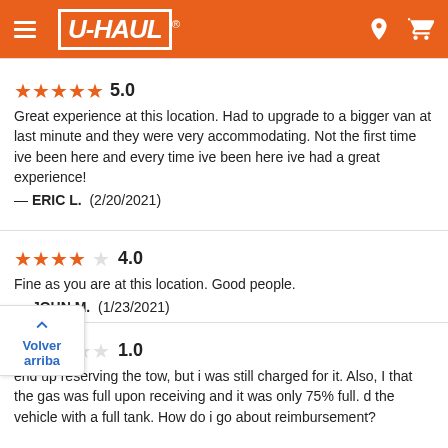[Figure (logo): U-Haul orange header with hamburger menu icon, U-HAUL logo, location pin icon, and shopping cart icon]
★★★★★ 5.0
Great experience at this location. Had to upgrade to a bigger van at last minute and they were very accommodating. Not the first time ive been here and every time ive been here ive had a great experience!
— ERIC L.  (2/20/2021)
★★★★☆ 4.0
Fine as you are at this location. Good people.
— JOHN M.  (1/23/2021)
★☆☆☆☆ 1.0
...end up reserving the tow, but i was still charged for it. Also, I ...that the gas was full upon receiving and it was only 75% full. ...d the vehicle with a full tank. How do i go about reimbursement?